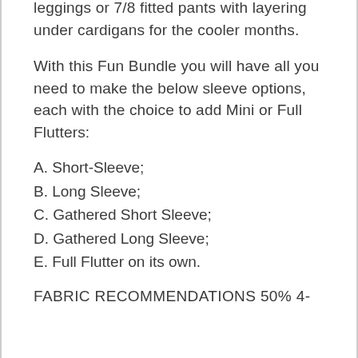leggings or 7/8 fitted pants with layering under cardigans for the cooler months.
With this Fun Bundle you will have all you need to make the below sleeve options, each with the choice to add Mini or Full Flutters:
A. Short-Sleeve;
B. Long Sleeve;
C. Gathered Short Sleeve;
D. Gathered Long Sleeve;
E. Full Flutter on its own.
FABRIC RECOMMENDATIONS 50% 4-